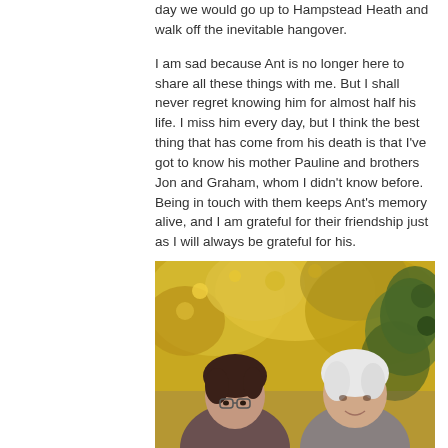day we would go up to Hampstead Heath and walk off the inevitable hangover.
I am sad because Ant is no longer here to share all these things with me. But I shall never regret knowing him for almost half his life. I miss him every day, but I think the best thing that has come from his death is that I've got to know his mother Pauline and brothers Jon and Graham, whom I didn't know before. Being in touch with them keeps Ant's memory alive, and I am grateful for their friendship just as I will always be grateful for his.
[Figure (photo): Two women posing together outdoors in front of yellow autumn foliage. The woman on the left has dark brown hair and glasses, the woman on the right has white/silver hair.]